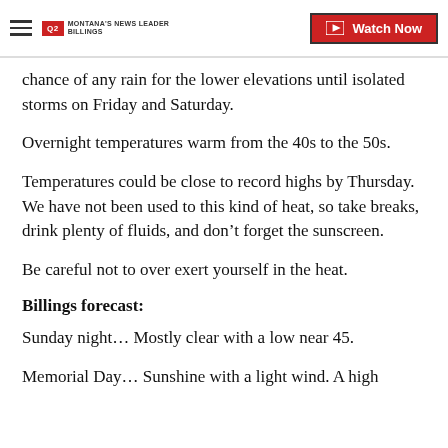Q2 MONTANA'S NEWS LEADER BILLINGS | Watch Now
chance of any rain for the lower elevations until isolated storms on Friday and Saturday.
Overnight temperatures warm from the 40s to the 50s.
Temperatures could be close to record highs by Thursday. We have not been used to this kind of heat, so take breaks, drink plenty of fluids, and don’t forget the sunscreen.
Be careful not to over exert yourself in the heat.
Billings forecast:
Sunday night… Mostly clear with a low near 45.
Memorial Day… Sunshine with a light wind. A high